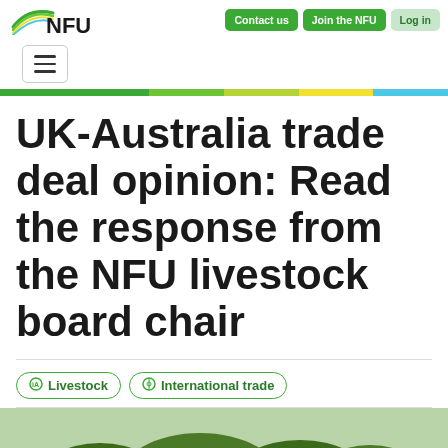NFU - Contact us | Join the NFU | Log in
UK-Australia trade deal opinion: Read the response from the NFU livestock board chair
Livestock
International trade
[Figure (photo): Outdoor photo showing a man standing in a green countryside landscape with trees in the background]